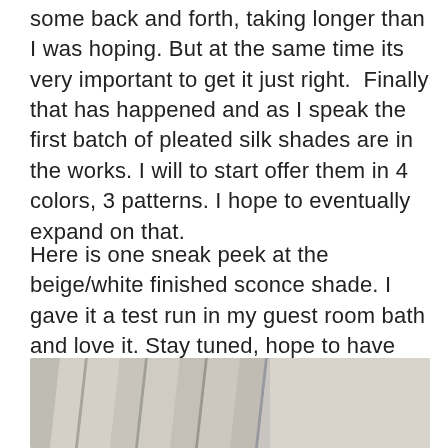some back and forth, taking longer than I was hoping. But at the same time its very important to get it just right.  Finally that has happened and as I speak the first batch of pleated silk shades are in the works. I will to start offer them in 4 colors, 3 patterns. I hope to eventually expand on that.
Here is one sneak peek at the beige/white finished sconce shade. I gave it a test run in my guest room bath and love it. Stay tuned, hope to have these no later than first week of Jan!
[Figure (photo): A close-up photo of a pleated silk lamp shade showing white/beige pleats arranged diagonally, photographed against a light wall background.]